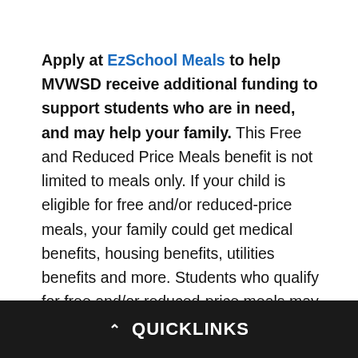Apply at EzSchool Meals to help MVWSD receive additional funding to support students who are in need, and may help your family. This Free and Reduced Price Meals benefit is not limited to meals only. If your child is eligible for free and/or reduced-price meals, your family could get medical benefits, housing benefits, utilities benefits and more. Students who qualify for free and/or reduced-price meals may be eligible for P-EBT cards. The more applications your school gathers at the start of each school year, the more additional funding it can receive for all kinds of programs that help children at your school. If you are currently out of work, you may qualify and help your school
^ QUICKLINKS